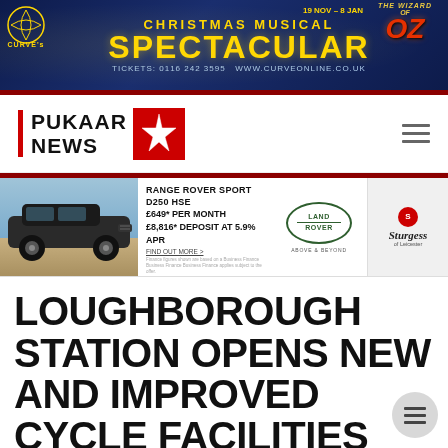[Figure (infographic): Curve's Christmas Musical Spectacular banner ad featuring The Wizard of Oz, 19 Nov – 8 Jan, with gold text on dark blue background. Tickets: 0116 242 3595 www.curveonline.co.uk]
[Figure (logo): Pukaar News logo with red star emblem and hamburger menu icon]
[Figure (infographic): Land Rover Range Rover Sport D250 HSE advertisement. £649* per month, £8,816* deposit at 5.9% APR. Land Rover and Sturgess of Leicester logos.]
LOUGHBOROUGH STATION OPENS NEW AND IMPROVED CYCLE FACILITIES
PUKAAR TEAM   06/07/2016 08:00:54